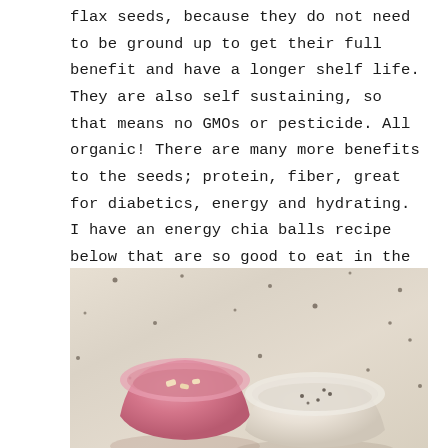flax seeds, because they do not need to be ground up to get their full benefit and have a longer shelf life. They are also self sustaining, so that means no GMOs or pesticide. All organic! There are many more benefits to the seeds; protein, fiber, great for diabetics, energy and hydrating. I have an energy chia balls recipe below that are so good to eat in the afternoon when you need a little jump start to finish out the day.
[Figure (photo): A photo showing a pink bowl and a cream/white bowl on a marble or granite countertop surface. The pink bowl contains what appears to be small white/yellow pieces of food. The background is a light speckled stone surface.]